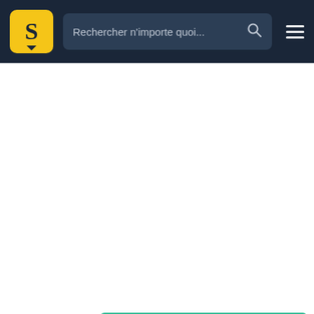Rechercher n'importe quoi...
[Figure (illustration): Screenshot of a Studocu-like educational website with a dark navy navigation bar at top containing a logo with S, a search bar with placeholder text 'Rechercher n'importe quoi...' and a hamburger menu. Below is a white content area. At the bottom left is a card with a mint/teal green background showing a document cover for 'Reproductive Health & Safety' with an image of a female doctor in white coat holding a clipboard, and text 'Lesson 3 – Sexually Transmitted Diseases & Sexually Transmitted Infections'.]
Reproductive Health & Safety
Lesson 3 – Sexually Transmitted Diseases & Sexually Transmitted Infections